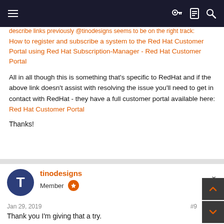Navigation bar with hamburger menu and icons
How to register and subscribe a system to the Red Hat Customer Portal using Red Hat Subscription-Manager - Red Hat Customer Portal
All in all though this is something that's specific to RedHat and if the above link doesn't assist with resolving the issue you'll need to get in contact with RedHat - they have a full customer portal available here: Red Hat Customer Portal
Thanks!
tinodesigns
Member
Jan 29, 2019
#9
Thank you I'm giving that a try.